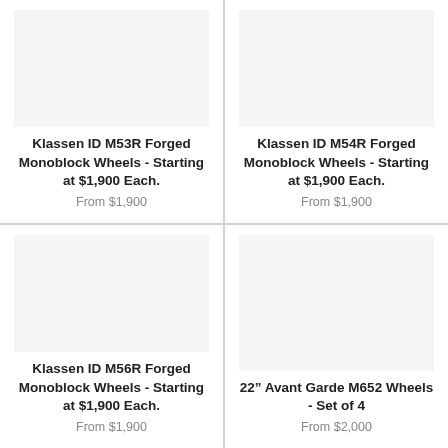[Figure (photo): Product image for Klassen ID M53R Forged Monoblock Wheels]
Klassen ID M53R Forged Monoblock Wheels - Starting at $1,900 Each.
From $1,900
[Figure (photo): Product image for Klassen ID M54R Forged Monoblock Wheels]
Klassen ID M54R Forged Monoblock Wheels - Starting at $1,900 Each.
From $1,900
[Figure (photo): Product image for Klassen ID M56R Forged Monoblock Wheels]
Klassen ID M56R Forged Monoblock Wheels - Starting at $1,900 Each.
From $1,900
[Figure (photo): Product image for 22" Avant Garde M652 Wheels - Set of 4]
22” Avant Garde M652 Wheels - Set of 4
From $2,000